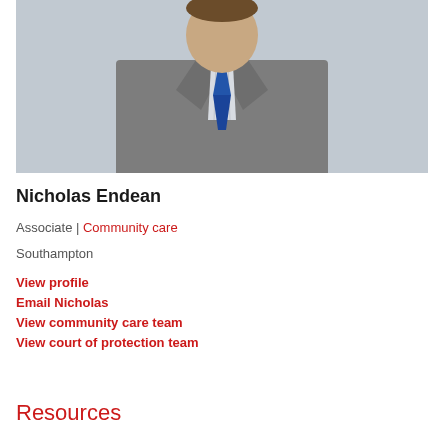[Figure (photo): Professional headshot of Nicholas Endean, a man in a grey suit with a blue striped tie and white shirt, photographed from chest up against a light grey background.]
Nicholas Endean
Associate | Community care
Southampton
View profile
Email Nicholas
View community care team
View court of protection team
Resources